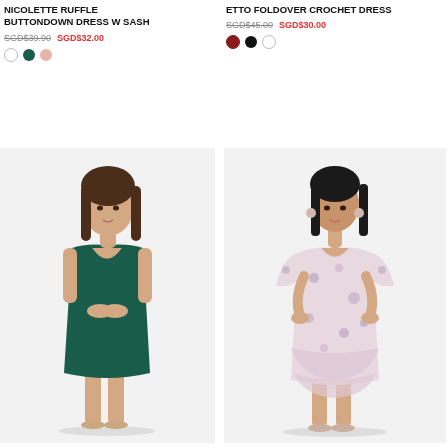NICOLETTE RUFFLE BUTTONDOWN DRESS W SASH
SGD$39.90  SGD$32.00
ETTO FOLDOVER CROCHET DRESS
SGD$45.00  SGD$30.00
[Figure (photo): Woman wearing a dark teal V-neck sleeveless mini dress, standing against a light background]
[Figure (photo): Woman wearing a light pink floral foldover crochet dress with ruffled hem, standing against a light background]